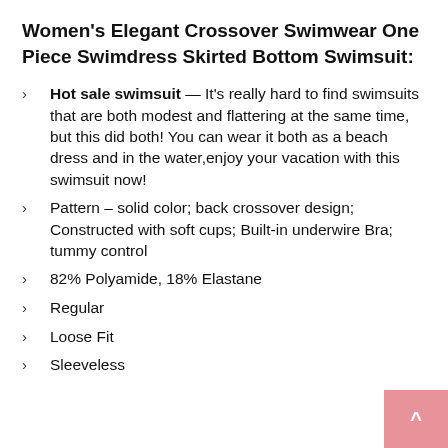Women's Elegant Crossover Swimwear One Piece Swimdress Skirted Bottom Swimsuit:
Hot sale swimsuit — It's really hard to find swimsuits that are both modest and flattering at the same time, but this did both! You can wear it both as a beach dress and in the water,enjoy your vacation with this swimsuit now!
Pattern – solid color; back crossover design; Constructed with soft cups; Built-in underwire Bra; tummy control
82% Polyamide, 18% Elastane
Regular
Loose Fit
Sleeveless